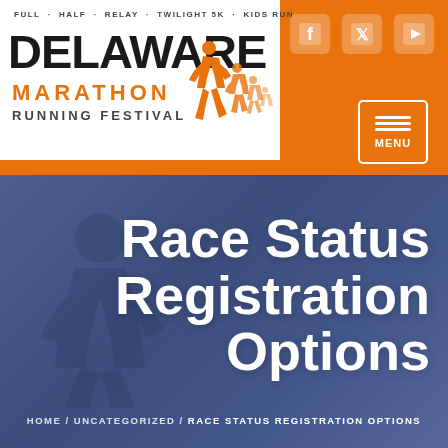[Figure (logo): Delaware Marathon Running Festival logo with text FULL - HALF - RELAY - TWILIGHT 5K - KIDS RUN, DELAWARE in large letters, MARATHON in orange, RUNNING FESTIVAL, and silhouette runners illustration]
[Figure (infographic): Social media icons for Facebook, Twitter, YouTube on orange background, and a MENU button with three horizontal lines]
Race Status Registration Options
HOME / UNCATEGORIZED / RACE STATUS REGISTRATION OPTIONS